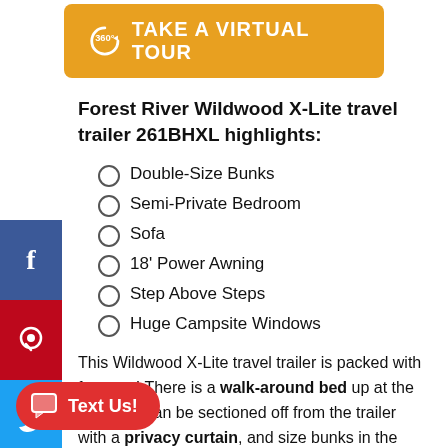[Figure (other): Golden '360° TAKE A VIRTUAL TOUR' button with a 360 icon]
Forest River Wildwood X-Lite travel trailer 261BHXL highlights:
Double-Size Bunks
Semi-Private Bedroom
Sofa
18' Power Awning
Step Above Steps
Huge Campsite Windows
This Wildwood X-Lite travel trailer is packed with features! There is a walk-around bed up at the front that can be sectioned off from the trailer with a privacy curtain, and size bunks in the back of this trailer will provide you with a compact sleeping